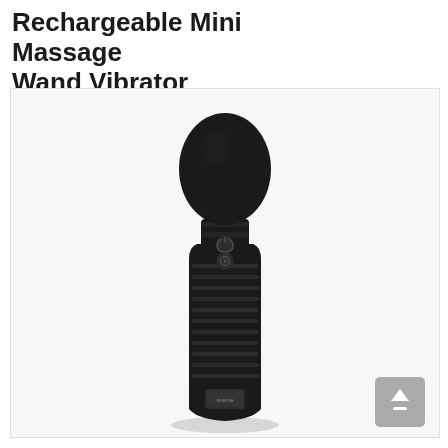Rechargeable Mini Massage Wand Vibrator
[Figure (photo): A black rechargeable mini massage wand vibrator standing upright against a white/light gray background. The device has a rounded bulbous head at the top, a ribbed grip handle, two buttons on the body (power and mode), and a small branded plate at the base.]